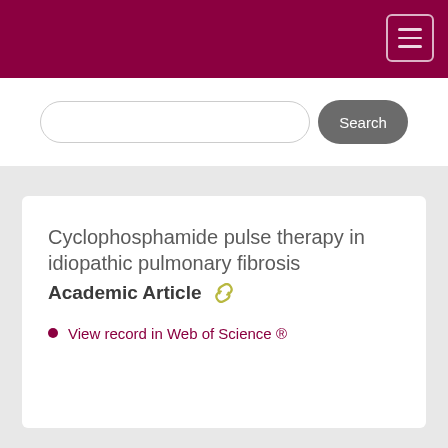[Figure (screenshot): Search bar with rounded input field and grey Search button]
Cyclophosphamide pulse therapy in idiopathic pulmonary fibrosis
Academic Article
View record in Web of Science ®